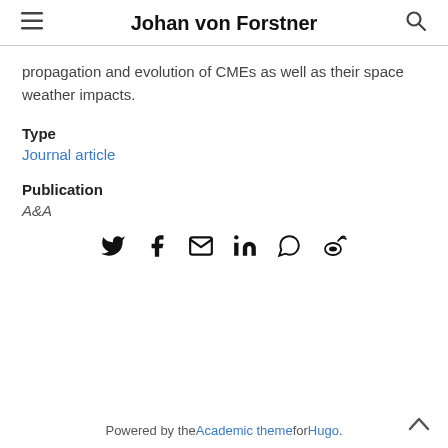Johan von Forstner
propagation and evolution of CMEs as well as their space weather impacts.
Type
Journal article
Publication
A&A
[Figure (other): Social share icons: Twitter, Facebook, Email, LinkedIn, WhatsApp, Weibo]
Powered by the Academic theme for Hugo.